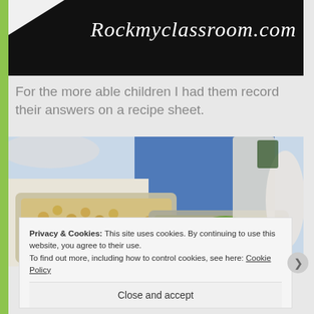[Figure (photo): Banner image with black background showing 'Rockmyclassroom.com' in white script/cursive font, with a light-colored corner element top left]
For the more able children I had them record their answers on a recipe sheet.
[Figure (photo): Photo of food ingredients on a blue and white table surface: a foil tray with fusilli pasta, a foil tray with romaine lettuce leaves, and other items in background]
Privacy & Cookies: This site uses cookies. By continuing to use this website, you agree to their use.
To find out more, including how to control cookies, see here: Cookie Policy
Close and accept